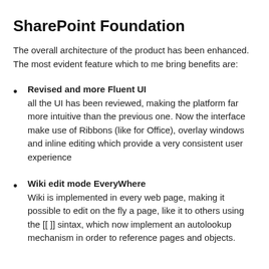SharePoint Foundation
The overall architecture of the product has been enhanced. The most evident feature which to me bring benefits are:
Revised and more Fluent UI — all the UI has been reviewed, making the platform far more intuitive than the previous one. Now the interface make use of Ribbons (like for Office), overlay windows and inline editing which provide a very consistent user experience
Wiki edit mode EveryWhere — Wiki is implemented in every web page, making it possible to edit on the fly a page, like it to others using the [[ ]] sintax, which now implement an autolookup mechanism in order to reference pages and objects.